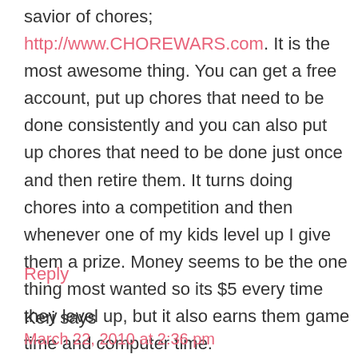savior of chores; http://www.CHOREWARS.com. It is the most awesome thing. You can get a free account, put up chores that need to be done consistently and you can also put up chores that need to be done just once and then retire them. It turns doing chores into a competition and then whenever one of my kids level up I give them a prize. Money seems to be the one thing most wanted so its $5 every time they level up, but it also earns them game time and computer time.
Reply
Keri says
March 22, 2010 at 2:36 pm